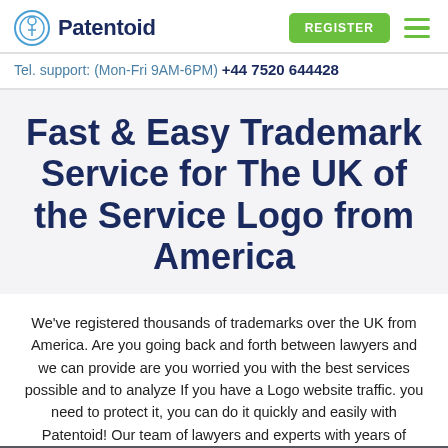Patentoid | Tel. support: (Mon-Fri 9AM-6PM) +44 7520 644428
Fast & Easy Trademark Service for The UK of the Service Logo from America
We've registered thousands of trademarks over the UK from America. Are you going back and forth between lawyers and we can provide are you worried you with the best services possible and to analyze If you have a Logo website traffic. you need to protect it, you can do it quickly and easily with Patentoid! Our team of lawyers and experts with years of
This website uses cookies to ensure you with the best services possible and to analyze website traffic.
i understand